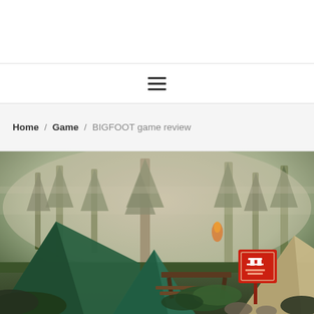Home / Game / BIGFOOT game review
[Figure (screenshot): Game screenshot from BIGFOOT game showing a forest campsite scene with green tents, tall trees, misty atmosphere, a wooden picnic table, ferns, and a red picnic area sign in the foreground.]